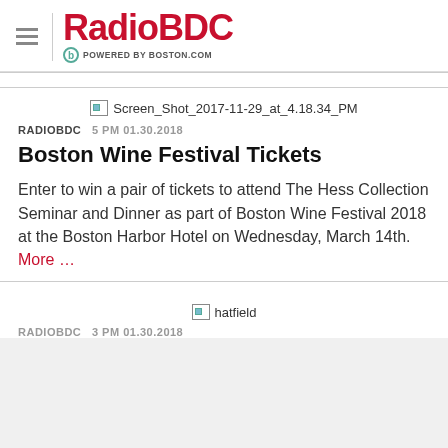RadioBDC POWERED BY BOSTON.COM
[Figure (photo): Broken image placeholder labeled Screen_Shot_2017-11-29_at_4.18.34_PM]
RADIOBDC   5 PM 01.30.2018
Boston Wine Festival Tickets
Enter to win a pair of tickets to attend The Hess Collection Seminar and Dinner as part of Boston Wine Festival 2018 at the Boston Harbor Hotel on Wednesday, March 14th. More ...
[Figure (photo): Broken image placeholder labeled hatfield]
RADIOBDC   3 PM 01.30.2018